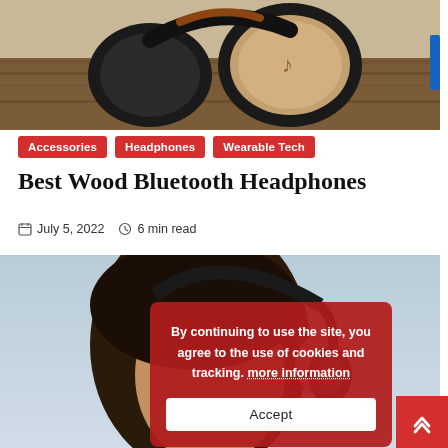[Figure (photo): Wood Bluetooth headphones resting on a wooden surface, close-up product photo]
Accessories
Headphones
Wearable Tech
Best Wood Bluetooth Headphones
July 5, 2022   6 min read
[Figure (photo): Man wearing Bluetooth headphones, side profile, with a cookie consent overlay dialog]
By continuing to use the site, you agree to the use of cookies and tracking. more information
Accept